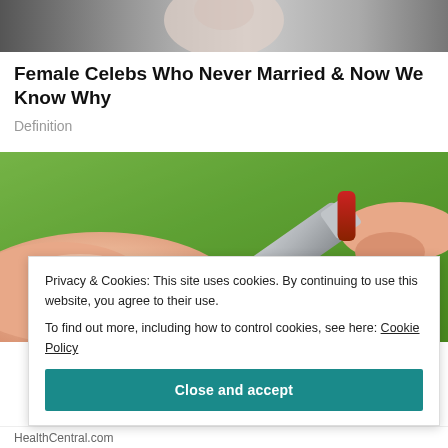[Figure (photo): Partial top image showing a light-toned blurred background, appears to be a person]
Female Celebs Who Never Married & Now We Know Why
Definition
[Figure (photo): Close-up photo of a hand holding a lancet/pen device touching a fingertip, with green blurred background]
Privacy & Cookies: This site uses cookies. By continuing to use this website, you agree to their use.
To find out more, including how to control cookies, see here: Cookie Policy
Close and accept
HealthCentral.com